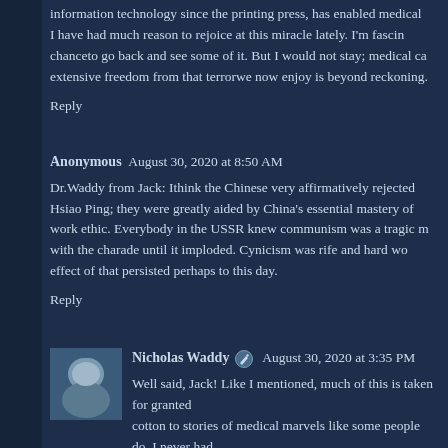information technology since the printing press, has enabled medical... I have had much reason to rejoice at this miracle lately. I'm fascin... chanceto go back and see some of it. But I would not stay; medical ca... extensive freedom from that terrorwe now enjoy is beyond reckoning.
Reply
Anonymous  August 30, 2020 at 8:50 AM
Dr.Waddy from Jack: Ithink the Chinese very affirmatively rejected... Hsiao Ping; they were greatly aided by China's essential mastery of... work ethic. Everybody in the USSR knew communism was a tragic m... with the charade until it imploded. Cynicism was rife and hard wo... effect of that persisted perhaps to this day.
Reply
Nicholas Waddy  August 30, 2020 at 3:35 PM
Well said, Jack! Like I mentioned, much of this is taken for granted... cotton to stories of medical marvels like some people do. I never had... any kind. You're absolutely right, though, that the quality of life ar... today is due largely to medical advances -- but also, of course,... improvements. One might say, in fact, that our medical system has al... the sense that now, when people die, it comes as an unpleasant sur...